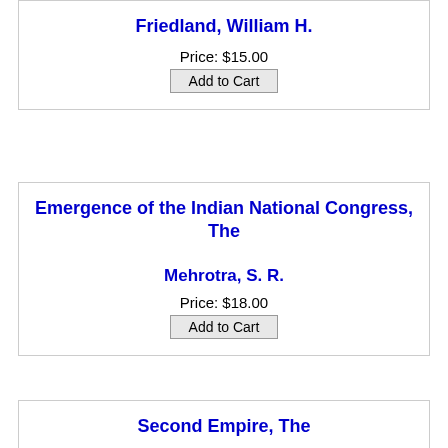Friedland, William H.
Price: $15.00
Add to Cart
Emergence of the Indian National Congress, The
Mehrotra, S. R.
Price: $18.00
Add to Cart
Second Empire, The